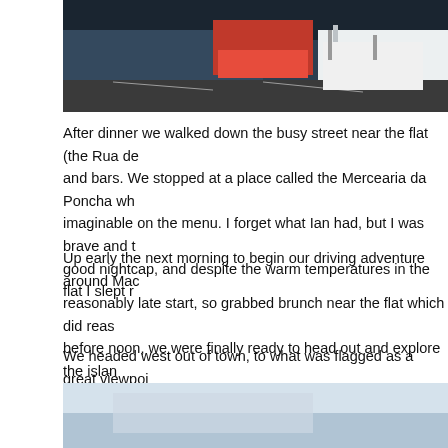[Figure (photo): Aerial or overhead view of a marina/harbour with boats including a red vessel and white yacht, on dark water with dock markings]
After dinner we walked down the busy street near the flat (the Rua de... and bars. We stopped at a place called the Mercearia da Poncha wh... imaginable on the menu. I forget what Ian had, but I was brave and t... good nightcap, and despite the warm temperatures in the flat I slept r...
Up early the next morning to begin our driving adventure around Mac... reasonably late start, so grabbed brunch near the flat which did reas... before noon, we were finally ready to head out and explore the islan...
We headed west out of town, to what was flagged as a great viewpoi... term we would be familiar with over the next few days. The drive to th... doesn't do great with heights, but when we got to the top of the Cabo... great view:
[Figure (photo): Partial view of a scenic overlook or viewpoint, showing a hazy sky and distant landscape, appears to be a coastal or mountain vista in Madeira]